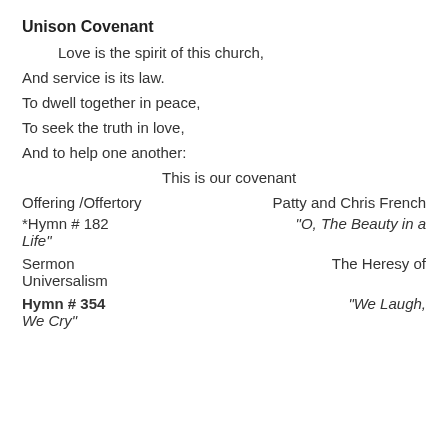Unison Covenant
Love is the spirit of this church,
And service is its law.
To dwell together in peace,
To seek the truth in love,
And to help one another:
This is our covenant
Offering /Offertory                    Patty and Chris French
*Hymn # 182                           "O, The Beauty in a Life"
Sermon                                  The Heresy of Universalism
Hymn # 354                              "We Laugh, We Cry"